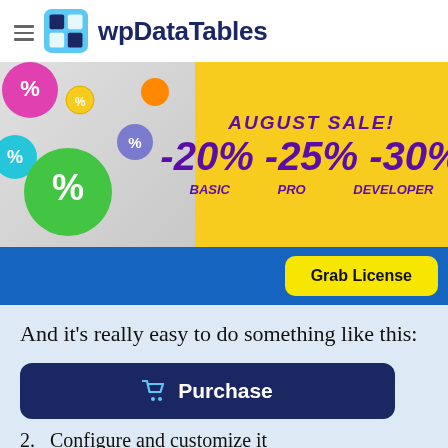[Figure (logo): wpDataTables logo with hamburger menu icon and blue grid icon]
[Figure (infographic): August Sale banner with yellow background, colorful percentage balls on the left, showing -20% BASIC, -25% PRO, -30% DEVELOPER discounts in purple bold italic text]
[Figure (screenshot): Blue bar with yellow Grab License button on the right]
And it’s really easy to do something like this:
[Figure (screenshot): Dark navy Purchase button with shopping cart icon]
2. Configure and customize it
3. Publish it in a post or page